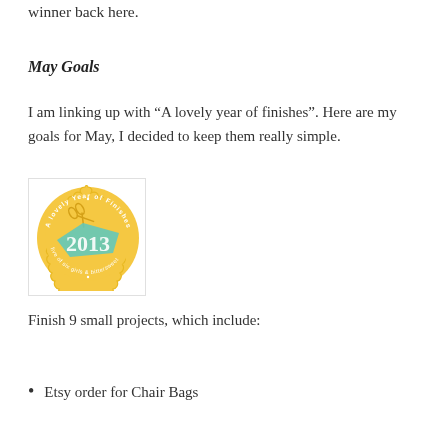winner back here.
May Goals
I am linking up with “A lovely year of finishes”. Here are my goals for May, I decided to keep them really simple.
[Figure (illustration): A golden/yellow circular badge reading 'A lovely Year of Finishes 2013' with scissors icon and teal ribbon accent, and text 'five of six girls & bittersweet' around the bottom.]
Finish 9 small projects, which include:
Etsy order for Chair Bags